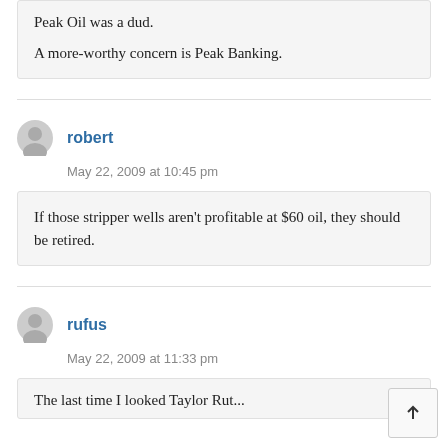Peak Oil was a dud. A more-worthy concern is Peak Banking.
robert
May 22, 2009 at 10:45 pm
If those stripper wells aren't profitable at $60 oil, they should be retired.
rufus
May 22, 2009 at 11:33 pm
The last time I looked Taylor Rut...